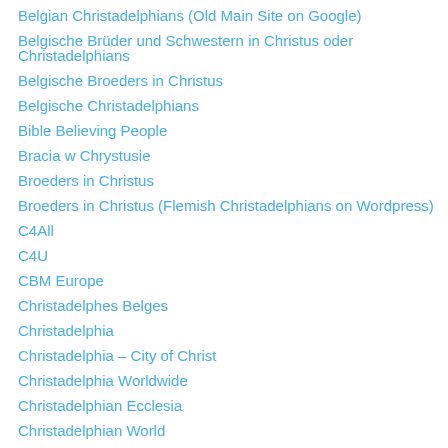Belgian Christadelphians (Old Main Site on Google)
Belgische Brüder und Schwestern in Christus oder Christadelphians
Belgische Broeders in Christus
Belgische Christadelphians
Bible Believing People
Bracia w Chrystusie
Broeders in Christus
Broeders in Christus (Flemish Christadelphians on Wordpress)
C4All
C4U
CBM Europe
Christadelphes Belges
Christadelphia
Christadelphia – City of Christ
Christadelphia Worldwide
Christadelphian Ecclesia
Christadelphian World
Christadelphians on Tumblr
Daily Bible Readings
Glad Tidings